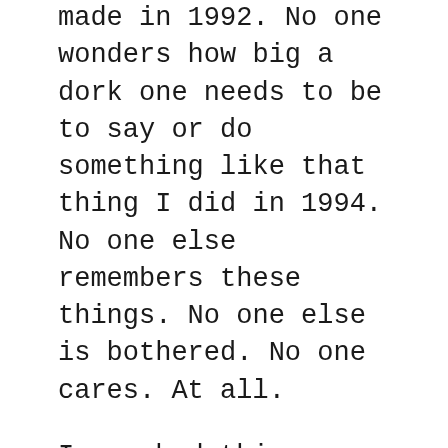made in 1992. No one wonders how big a dork one needs to be to say or do something like that thing I did in 1994. No one else remembers these things. No one else is bothered. No one cares. At all.
I reached this achingly obvious realization with the help of a little thought experiment. After one of my moments of embarrassment over something long, long ago, I challenged myself to think of an example of something embarrassing someone else did, recent or in the past. I honestly tried to come up with one example, and I couldn't. Family, friend, or foe, I could not identify a single example. I could think of funny things, sad things, and even some mean things, but nothing embarrassing. Nothing mortifying or scandalously uncool. I even widened my thought